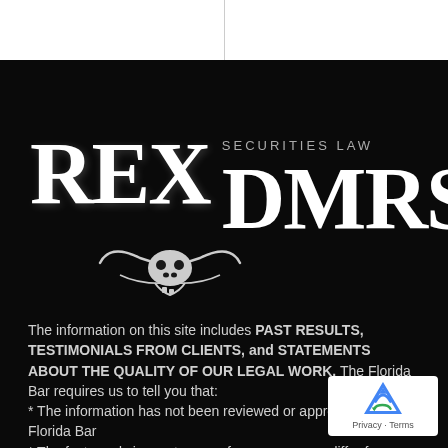[Figure (logo): REX|DMRS Securities Law logo with longhorn bull skull graphic on black background]
The information on this site includes PAST RESULTS, TESTIMONIALS FROM CLIENTS, and STATEMENTS ABOUT THE QUALITY OF OUR LEGAL WORK. The Florida Bar requires us to tell you that:
* The information has not been reviewed or approved by The Florida Bar
* The facts and circumstances of your case may differ from the matter in which results have been given
* Every case is different, and each client's case must be evaluated and handled on its own merits